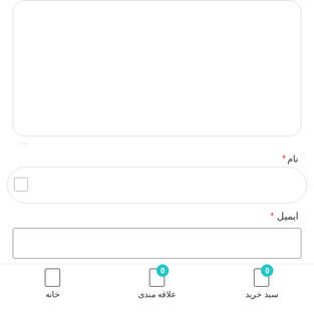[Figure (screenshot): Web form with rounded text area (partially visible at top), name input field with icon, email input field, website input field, checkbox with save browser info text, and bottom navigation bar with home, favorites, and cart icons]
نام *
ایمیل *
وب سایت
ذخیره نام، ایمیل و وبسایت من در مرورگر برای زمانی که دوباره
خانه   علاقه مندی   سبد خرید